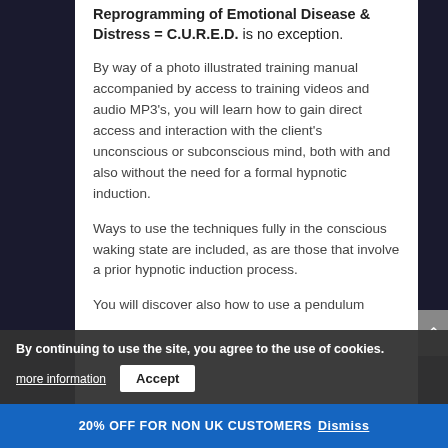Reprogramming of Emotional Disease & Distress = C.U.R.E.D. is no exception.
By way of a photo illustrated training manual accompanied by access to training videos and audio MP3's, you will learn how to gain direct access and interaction with the client's unconscious or subconscious mind, both with and also without the need for a formal hypnotic induction.
Ways to use the techniques fully in the conscious waking state are included, as are those that involve a prior hypnotic induction process.
You will discover also how to use a pendulum as a diagnostic tool – p demonst also...
By continuing to use the site, you agree to the use of cookies. more information  Accept
20% OFF FOR NON UK CUSTOMERS Dismiss